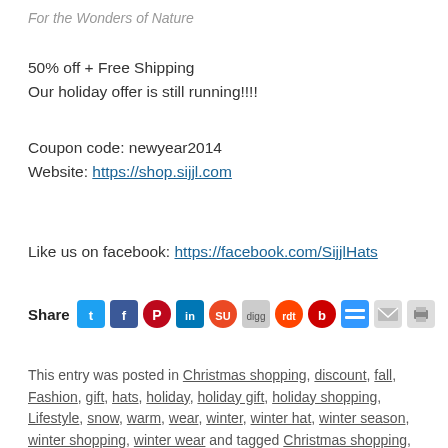For the Wonders of Nature
50% off + Free Shipping
Our holiday offer is still running!!!!
Coupon code: newyear2014
Website: https://shop.sijjl.com
Like us on facebook: https://facebook.com/SijjlHats
[Figure (infographic): Share icons row: Twitter, Facebook, Pinterest, LinkedIn, StumbleUpon, Digg, Reddit, Beats, Delicious, Email, Print]
This entry was posted in Christmas shopping, discount, fall, Fashion, gift, hats, holiday, holiday gift, holiday shopping, Lifestyle, snow, warm, wear, winter, winter hat, winter season, winter shopping, winter wear and tagged Christmas shopping, chullos, classy, code, coincidence, countdown, cozy, cyber